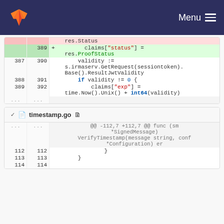GitLab — Menu
[Figure (screenshot): Code diff view showing changes to Go source files. First diff block shows claims["status"] = res.ProofStatus addition and validity/claims["exp"] context lines. Second block shows timestamp.go file header and diff hunk @@ -112,7 +112,7 @@ func (sm *SignedMessage) VerifyTimestamp(message string, conf *Configuration) er with lines 112-114.]